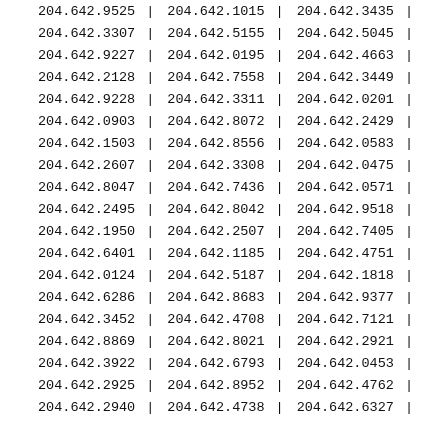| 204.642.9525 | | | 204.642.1015 | | | 204.642.3435 | | |
| 204.642.3307 | | | 204.642.5155 | | | 204.642.5045 | | |
| 204.642.9227 | | | 204.642.0195 | | | 204.642.4663 | | |
| 204.642.2128 | | | 204.642.7558 | | | 204.642.3449 | | |
| 204.642.9228 | | | 204.642.3311 | | | 204.642.0201 | | |
| 204.642.0903 | | | 204.642.8072 | | | 204.642.2429 | | |
| 204.642.1503 | | | 204.642.8556 | | | 204.642.0583 | | |
| 204.642.2607 | | | 204.642.3308 | | | 204.642.0475 | | |
| 204.642.8047 | | | 204.642.7436 | | | 204.642.0571 | | |
| 204.642.2495 | | | 204.642.8042 | | | 204.642.9518 | | |
| 204.642.1950 | | | 204.642.2507 | | | 204.642.7405 | | |
| 204.642.6401 | | | 204.642.1185 | | | 204.642.4751 | | |
| 204.642.0124 | | | 204.642.5187 | | | 204.642.1818 | | |
| 204.642.6286 | | | 204.642.8683 | | | 204.642.9377 | | |
| 204.642.3452 | | | 204.642.4708 | | | 204.642.7121 | | |
| 204.642.8869 | | | 204.642.8021 | | | 204.642.2921 | | |
| 204.642.3922 | | | 204.642.6793 | | | 204.642.0453 | | |
| 204.642.2925 | | | 204.642.8952 | | | 204.642.4762 | | |
| 204.642.2940 | | | 204.642.4738 | | | 204.642.6327 | | |